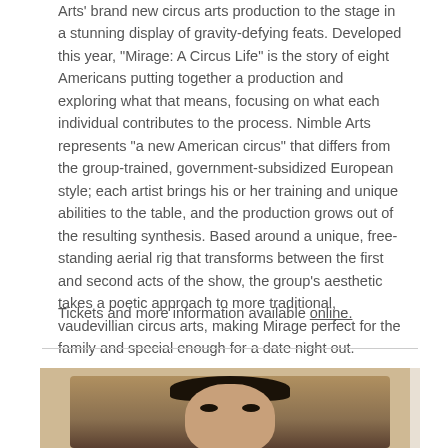Arts' brand new circus arts production to the stage in a stunning display of gravity-defying feats. Developed this year, "Mirage: A Circus Life" is the story of eight Americans putting together a production and exploring what that means, focusing on what each individual contributes to the process. Nimble Arts represents “a new American circus” that differs from the group-trained, government-subsidized European style; each artist brings his or her training and unique abilities to the table, and the production grows out of the resulting synthesis. Based around a unique, free-standing aerial rig that transforms between the first and second acts of the show, the group’s aesthetic takes a poetic approach to more traditional, vaudevillian circus arts, making Mirage perfect for the family and special enough for a date night out.
Tickets and more information available online.
[Figure (photo): Portrait photo of a man with dark hair looking upward, photographed against a warm brown/tan background.]